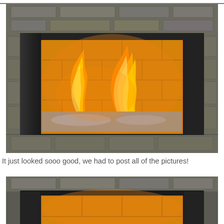[Figure (photo): Partial top strip of a fireplace photo cropped at top of page]
[Figure (photo): A stone-surround fireplace with a dark metal frame, burning orange and yellow flames above glass fire media, with tiled interior walls illuminated by warm glow]
It just looked sooo good, we had to post all of the pictures!
[Figure (photo): Bottom portion of another fireplace photo showing stone surround and dark metal frame with warm interior glow, cropped at bottom of page]